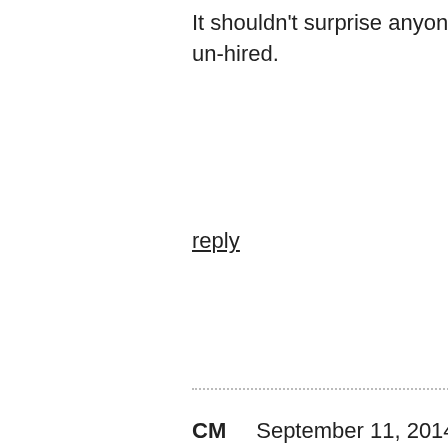It shouldn't surprise anyone since it is precisely this juvenile idiocy that got Salaita un-hired.
reply
CM    September 11, 2014 at 8:51 am | #
There is no moral obligation to follow any moral ideal. No one is morally obligated to address human rights obligations in China–free agents get to choose which evils they are not morally obligated to address. Addressing human rights violations in Israel amounts to following a moral ideal–there is